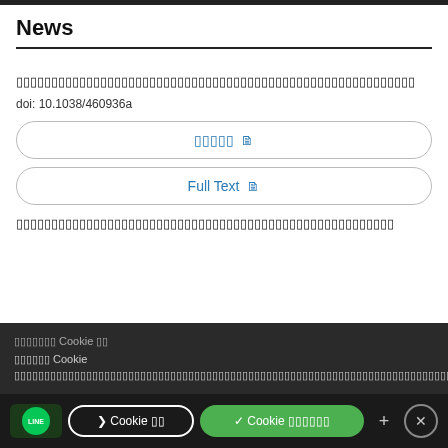News
▯▯▯▯▯▯▯▯▯▯▯▯▯▯▯▯▯▯▯▯▯▯▯▯▯▯▯▯▯▯▯▯▯▯▯▯▯▯▯▯▯▯▯▯▯▯▯▯▯▯▯▯▯▯▯ (Thai script title)
doi: 10.1038/460936a
▯▯▯▯▯ (button label in Thai)
Full Text
▯▯▯▯▯▯▯▯▯▯▯▯▯▯▯▯▯▯▯▯▯▯▯▯▯▯▯▯▯▯▯▯▯▯▯▯▯▯▯▯▯▯▯▯▯▯▯▯▯▯▯▯▯▯ (second article title in Thai)
▯▯▯▯▯▯▯ Cookie ▯▯ (cookie notice in Thai)
Cookie ▯▯
✓ Cookie ▯▯▯▯▯▯